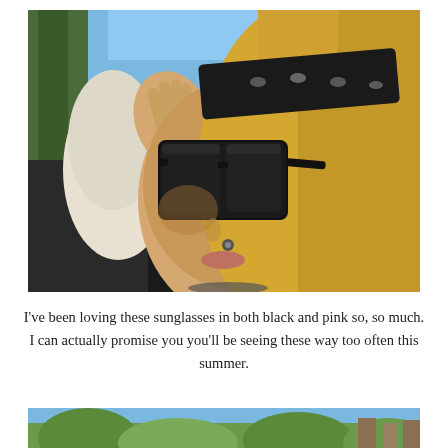[Figure (photo): Close-up photo of a blonde woman wearing large black wayfarer sunglasses and a black patterned headband/scarf with small animal prints. She is raising her hand near her glasses. Background shows trees and blue sky.]
I've been loving these sunglasses in both black and pink so, so much. I can actually promise you you'll be seeing these way too often this summer.
[Figure (photo): Partial bottom photo showing an outdoor nature scene with trees and sky, cropped at the bottom of the page.]